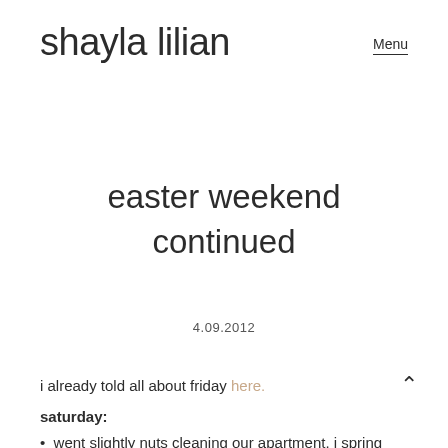shayla lilian    Menu
easter weekend continued
4.09.2012
i already told all about friday here.
saturday:
went slightly nuts cleaning our apartment. i spring